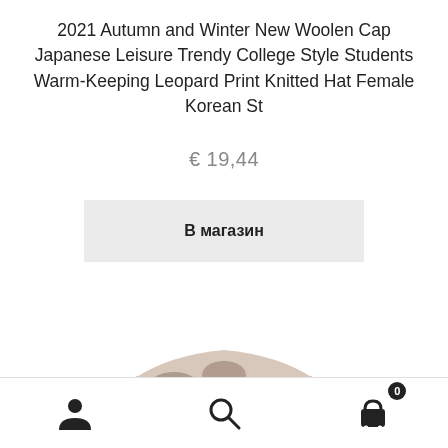2021 Autumn and Winter New Woolen Cap Japanese Leisure Trendy College Style Students Warm-Keeping Leopard Print Knitted Hat Female Korean St
€ 19,44
В магазин
[Figure (photo): A leopard print knitted woolen hat viewed from above, showing a flat beanie shape with brown and beige tones]
[Figure (infographic): Bottom navigation bar with person/account icon, search icon, and shopping cart icon with badge showing 0]